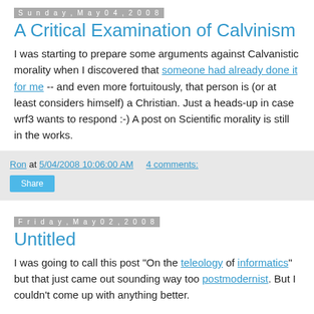Sunday, May 04, 2008
A Critical Examination of Calvinism
I was starting to prepare some arguments against Calvanistic morality when I discovered that someone had already done it for me -- and even more fortuitously, that person is (or at least considers himself) a Christian. Just a heads-up in case wrf3 wants to respond :-) A post on Scientific morality is still in the works.
Ron at 5/04/2008 10:06:00 AM    4 comments:
Share
Friday, May 02, 2008
Untitled
I was going to call this post "On the teleology of informatics" but that just came out sounding way too postmodernist. But I couldn't come up with anything better.